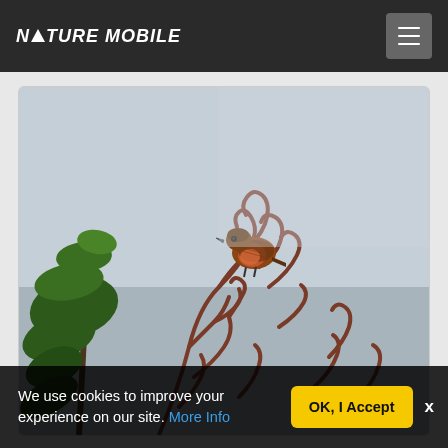NATURE MOBILE
[Figure (photo): A small brown and reddish bird (linnet or similar finch) perched on twisting reddish-brown bare branches of a conifer or pine tree, with green pine needles visible on the left side. The background is a pale grey sky.]
We use cookies to improve your experience on our site. More Info
OK, I Accept
x